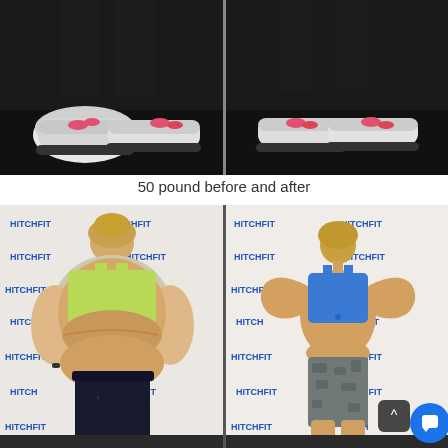[Figure (photo): Before and after comparison photos showing feet/shoes from above – before on left, after on right, dark background]
50 pound before and after
[Figure (photo): Before and after full-body back-view photos of a woman at Hitch Fit gym. Left: woman in yellow/lime sports bra and black leggings, heavier build. Right: woman in blue sports bra and camo shorts, slimmer build flexing arms.]